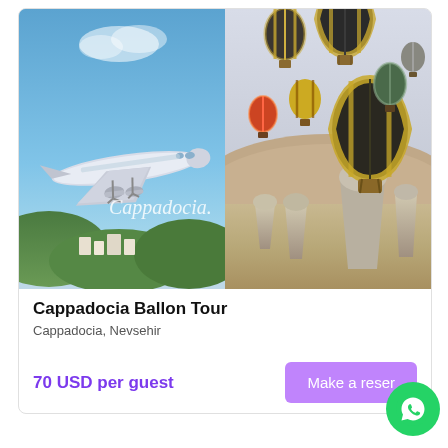[Figure (photo): Split photo: left side shows an airplane landing with blue sky and green hills and white buildings below; right side shows hot air balloons over the rocky Cappadocia landscape with desert terrain and fairy chimneys. Text 'Cappadocia' watermarked across the center in italic white script.]
Cappadocia Ballon Tour
Cappadocia, Nevsehir
70 USD per guest
Make a reser